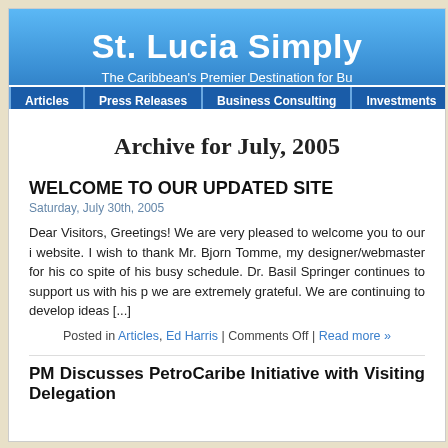St. Lucia Simply
The Caribbean's Premier Destination for Bu
Articles | Press Releases | Business Consulting | Investments
Archive for July, 2005
WELCOME TO OUR UPDATED SITE
Saturday, July 30th, 2005
Dear Visitors, Greetings! We are very pleased to welcome you to our i website. I wish to thank Mr. Bjorn Tomme, my designer/webmaster for his co spite of his busy schedule. Dr. Basil Springer continues to support us with his p we are extremely grateful. We are continuing to develop ideas [...]
Posted in Articles, Ed Harris | Comments Off | Read more »
PM Discusses PetroCaribe Initiative with Visiting Delegation